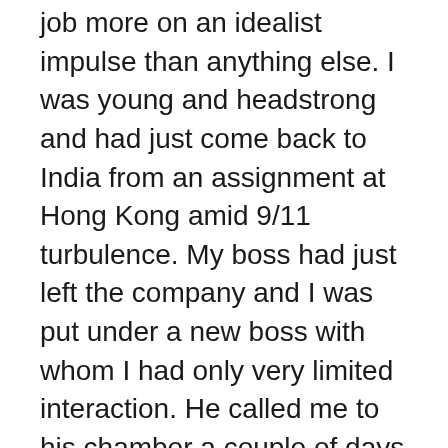job more on an idealist impulse than anything else. I was young and headstrong and had just come back to India from an assignment at Hong Kong amid 9/11 turbulence. My boss had just left the company and I was put under a new boss with whom I had only very limited interaction. He called me to his chamber a couple of days after I landed in India and told me that because of IT slowdown resulting from 9/11, the management was embarking on a new policy of “Just In Time” bench strength i.e. need based hiring and firing of employees. And I was required to pursue resignations from 12 people from my team in the next two days. The names had already been decided and the list was given to me, the names on the list were of the brightest guys in the team and I was bemused. Every attempt to get reason out of that approach resulted in an argument with my new boss. The team members whose resignations had to be pursued, they were so young and